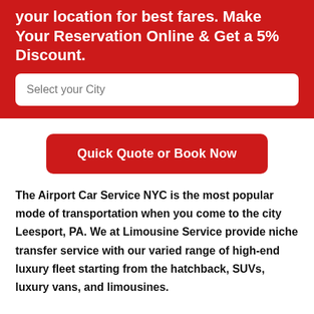your location for best fares. Make Your Reservation Online & Get a 5% Discount.
[Figure (other): Text input field with placeholder: Select your City]
[Figure (other): Red button: Quick Quote or Book Now]
The Airport Car Service NYC is the most popular mode of transportation when you come to the city Leesport, PA. We at Limousine Service provide niche transfer service with our varied range of high-end luxury fleet starting from the hatchback, SUVs, luxury vans, and limousines.
With NYC Airport Limo Service for your service, we